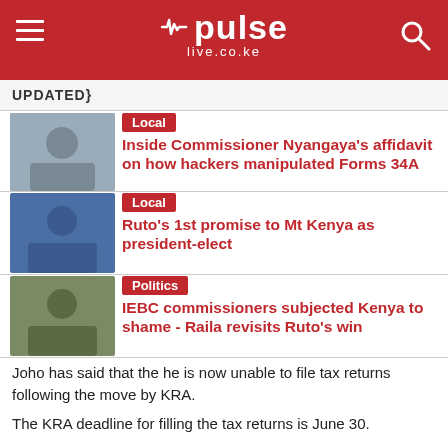pulse live.co.ke
UPDATED}
[Figure (photo): Thumbnail photo for Commissioner Nyangaya article]
Local
Inside Commissioner Nyangaya's affidavit on how hackers manipulated Forms 34A
[Figure (photo): Thumbnail photo for Ruto Mt Kenya article]
Local
Ruto's 1st promise to Mt Kenya as president-elect
[Figure (photo): Thumbnail photo for IEBC commissioners article]
Politics
IEBC commissioners subjected Kenya to shame - Raila revisits Ruto's win
Joho has said that the he is now unable to file tax returns following the move by KRA.
The KRA deadline for filling the tax returns is June 30.